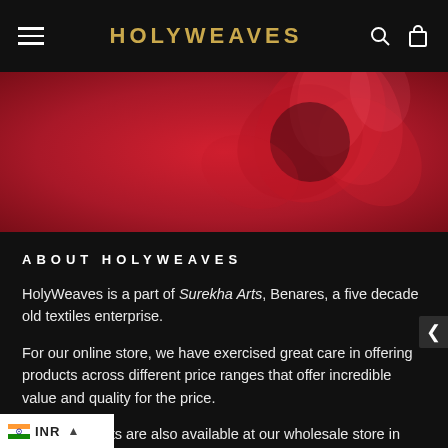HOLYWEAVES
[Figure (photo): Red and dark floral background hero image]
ABOUT HOLYWEAVES
HolyWeaves is a part of Surekha Arts, Benares, a five decade old textiles enterprise.
For our online store, we have exercised great care in offering products across different price ranges that offer incredible value and quality for the price.
All products are also available at our wholesale store in Benares.